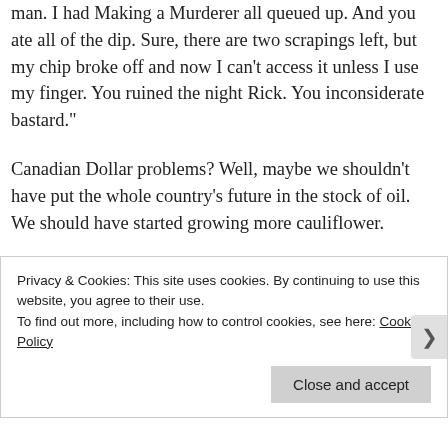man. I had Making a Murderer all queued up. And you ate all of the dip. Sure, there are two scrapings left, but my chip broke off and now I can't access it unless I use my finger. You ruined the night Rick. You inconsiderate bastard."
Canadian Dollar problems? Well, maybe we shouldn't have put the whole country's future in the stock of oil. We should have started growing more cauliflower.
Privacy & Cookies: This site uses cookies. By continuing to use this website, you agree to their use.
To find out more, including how to control cookies, see here: Cookie Policy
Close and accept